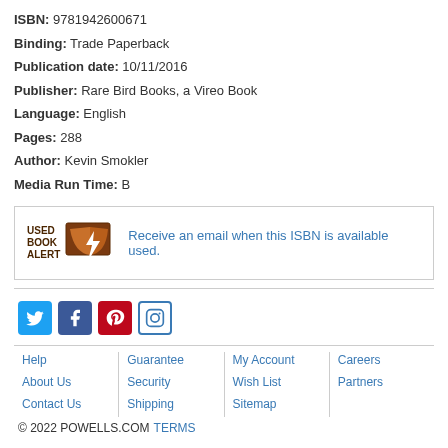ISBN: 9781942600671
Binding: Trade Paperback
Publication date: 10/11/2016
Publisher: Rare Bird Books, a Vireo Book
Language: English
Pages: 288
Author: Kevin Smokler
Media Run Time: B
[Figure (infographic): Used Book Alert box with logo (brown book with lightning bolt) and text: Receive an email when this ISBN is available used.]
[Figure (logo): Social media icons: Twitter (blue bird), Facebook (blue f), Pinterest (red P), Instagram (camera outline in blue border)]
Help | About Us | Contact Us | Guarantee | Security | Shipping | My Account | Wish List | Sitemap | Careers | Partners | © 2022 POWELLS.COM TERMS